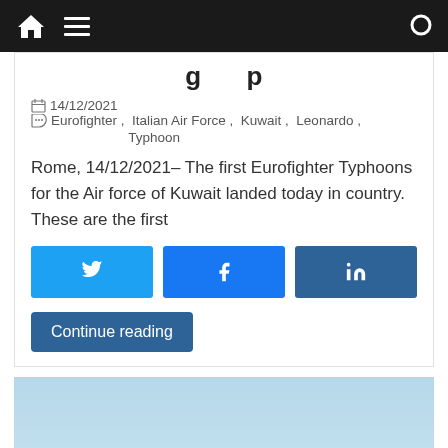Navigation bar with home icon, menu icon, search icon
g p (partial, clipped at top)
14/12/2021  Eurofighter, Italian Air Force, Kuwait, Leonardo, Typhoon
Rome, 14/12/2021– The first Eurofighter Typhoons for the Air force of Kuwait landed today in country. These are the first
[Figure (other): Social share buttons: Twitter (blue), Facebook (blue), LinkedIn (dark blue)]
Continue reading
[Figure (photo): Bottom portion of article showing a light blue sky with the top of aircraft visible, a scroll-to-top arrow icon in the bottom right]